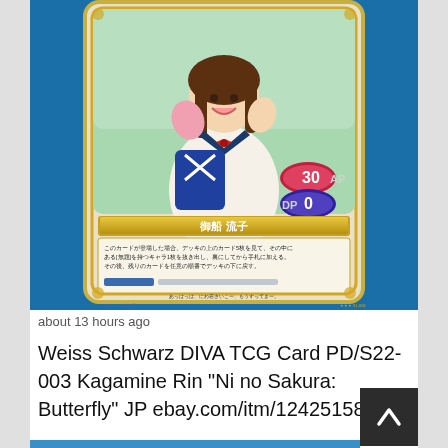[Figure (photo): Photograph of a Japanese trading card (Weiss Schwarz style) featuring an anime girl character in a school uniform with a blue bag. The card shows the character name in Japanese (御船 流子), AP: 30, DP: 0, Japanese card text, and card number 01-058.]
about 13 hours ago
Weiss Schwarz DIVA TCG Card PD/S22-003 Kagamine Rin "Ni no Sakura: Butterfly" JP ebay.com/itm/1242515897...